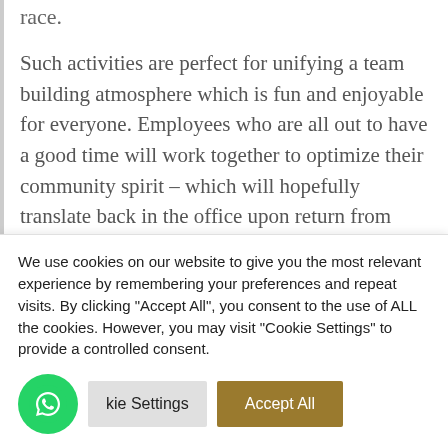race.
Such activities are perfect for unifying a team building atmosphere which is fun and enjoyable for everyone. Employees who are all out to have a good time will work together to optimize their community spirit – which will hopefully translate back in the office upon return from your business incentive.
We use cookies on our website to give you the most relevant experience by remembering your preferences and repeat visits. By clicking "Accept All", you consent to the use of ALL the cookies. However, you may visit "Cookie Settings" to provide a controlled consent.